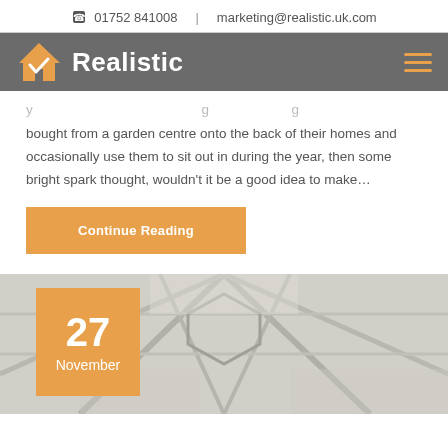01752 841008  |  marketing@realistic.uk.com
[Figure (logo): Realistic logo with orange house/checkmark icon and white text 'Realistic' on grey nav bar]
bought from a garden centre onto the back of their homes and occasionally use them to sit out in during the year, then some bright spark thought, wouldn't it be a good idea to make…
Continue Reading
[Figure (photo): Interior upward view of a glass roof / orangery structure with geometric skylight frames, with an orange date badge overlay showing '27 November']